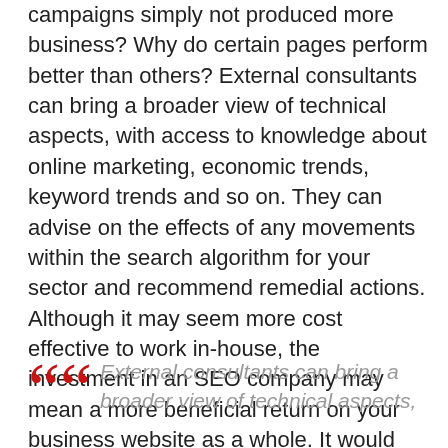campaigns simply not produced more business? Why do certain pages perform better than others? External consultants can bring a broader view of technical aspects, with access to knowledge about online marketing, economic trends, keyword trends and so on. They can advise on the effects of any movements within the search algorithm for your sector and recommend remedial actions. Although it may seem more cost effective to work in-house, the investment in an SEO company may mean a more beneficial return on your business website as a whole. It would not be possible to replicate their experience by using a member of staff who completes optimisation tasks as a part-time concern.
External consultants can bring a broader view of technical aspects,